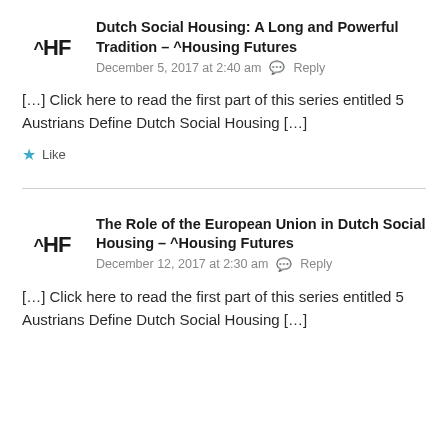[Figure (logo): ^HF logo — caret symbol followed by HF in bold black text]
Dutch Social Housing: A Long and Powerful Tradition – ^Housing Futures
December 5, 2017 at 2:40 am   Reply
[…] Click here to read the first part of this series entitled 5 Austrians Define Dutch Social Housing […]
Like
[Figure (logo): ^HF logo — caret symbol followed by HF in bold black text]
The Role of the European Union in Dutch Social Housing – ^Housing Futures
December 12, 2017 at 2:30 am   Reply
[…] Click here to read the first part of this series entitled 5 Austrians Define Dutch Social Housing […]